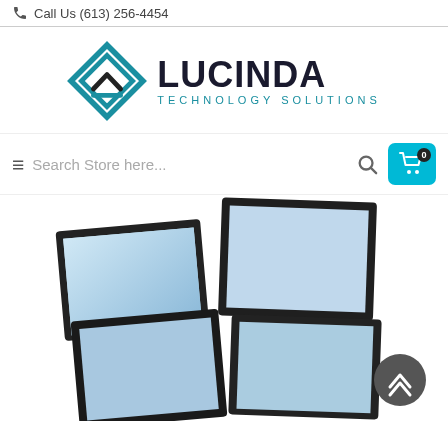Call Us (613) 256-4454
[Figure (logo): Lucinda Technology Solutions logo with geometric diamond/layers icon in teal and dark blue, and company name in bold dark text]
Search Store here...
[Figure (photo): Multiple flat-panel monitors arranged in a stacked 2x2 grid configuration on a stand, with blue/light screens, dark bezels, on a white background]